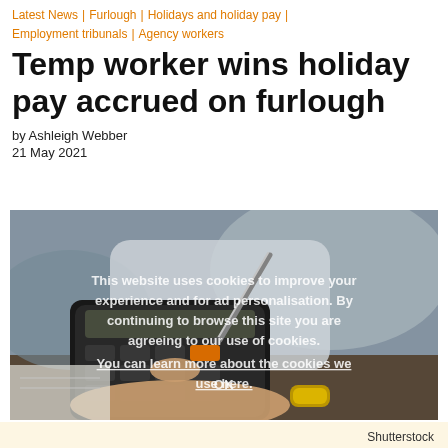Latest News | Furlough | Holidays and holiday pay | Employment tribunals | Agency workers
Temp worker wins holiday pay accrued on furlough
by Ashleigh Webber
21 May 2021
[Figure (photo): Person wearing gold bracelet holding a calculator and pen, with cookie consent overlay text visible on the image.]
Shutterstock